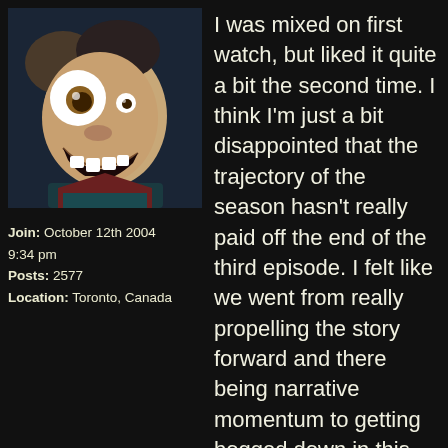[Figure (illustration): Animated character with wide eyes and open mouth grinning expression, dark background, anime-style illustration used as forum avatar]
Join: October 12th 2004 9:34 pm
Posts: 2577
Location: Toronto, Canada
I was mixed on first watch, but liked it quite a bit the second time. I think I'm just a bit disappointed that the trajectory of the season hasn't really paid off the end of the third episode. I felt like we went from really propelling the story forward and there being narrative momentum to getting bogged down in this